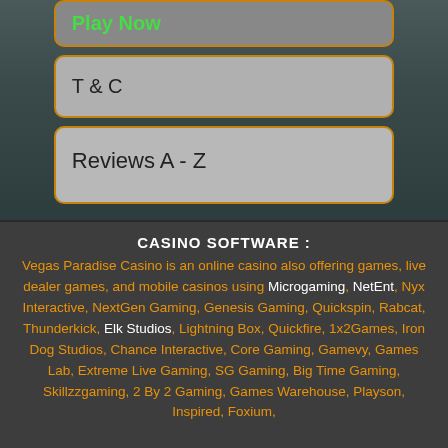[Figure (screenshot): Green Play Now button with orange border on dark background]
T & C
Reviews A - Z
CASINO SOFTWARE :
Vegas Paradise Casino is an online casino also offering games, live dealer games, and mobile casinos using Microgaming, NetEnt, Nyx Interactive, NextGen Gaming, Genesis Gaming, Quickspin, Rabcat, Thunderkick, Elk Studios, Lightning Box, Quickfire, 1x2Games, Iron Dog Studios, Chance Interactive, Core Gaming, Gamevy, Games Lab, Extreme Live Gaming, SG Gaming, Big Time Gaming, Skillzzgaming, 2 By 2 Gaming, Games Warehouse, Playson, Inspired, Foxium,